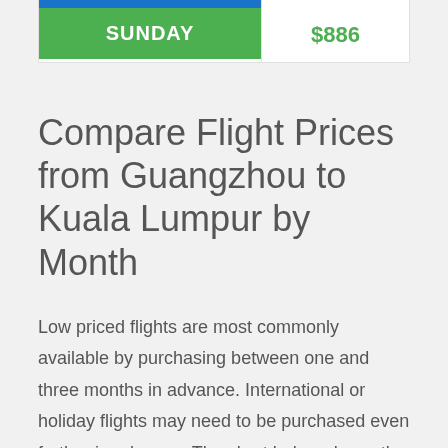| Day | Price |
| --- | --- |
| SUNDAY | $886 |
Compare Flight Prices from Guangzhou to Kuala Lumpur by Month
Low priced flights are most commonly available by purchasing between one and three months in advance. International or holiday flights may need to be purchased even further in advance. The chart below shows the cheapest flight prices by month for